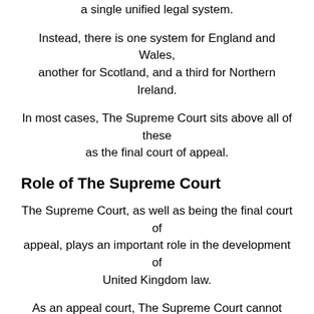a single unified legal system.
Instead, there is one system for England and Wales, another for Scotland, and a third for Northern Ireland.
In most cases, The Supreme Court sits above all of these as the final court of appeal.
Role of The Supreme Court
The Supreme Court, as well as being the final court of appeal, plays an important role in the development of United Kingdom law.
As an appeal court, The Supreme Court cannot consider a case unless a relevant order has been made in a lower court.